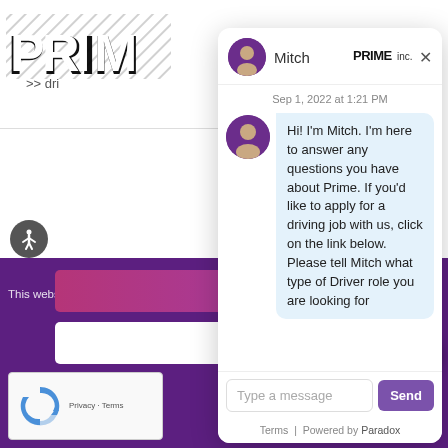[Figure (screenshot): Screenshot of Prime Inc. website with a chat widget overlay. Background shows Prime Inc. logo, partial website text 'Once you... for upgra...' and 'This website use...' cookie notice. Foreground shows a chat window with agent 'Mitch' from PRIMEinc., timestamp 'Sep 1, 2022 at 1:21 PM', a message bubble, text input, Send button, Terms/Powered by Paradox footer, Accept/Reject cookie buttons, and reCAPTCHA badge.]